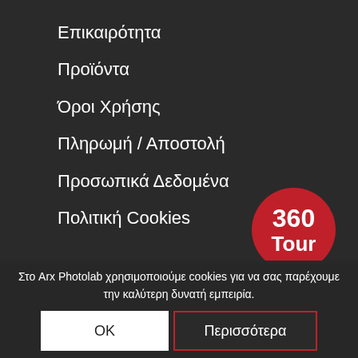Επικαιρότητα
Προϊόντα
Όροι Χρήσης
Πληρωμή / Αποστολή
Προσωπικά Δεδομένα
Πολιτική Cookies
[Figure (other): Red circular badge with text '360 Tour']
NEWSLETTER
Στο Arx Photolab χρησιμοποιούμε cookies για να σας παρέχουμε την καλύτερη δυνατή εμπειρία.
OK
Περισσότερα